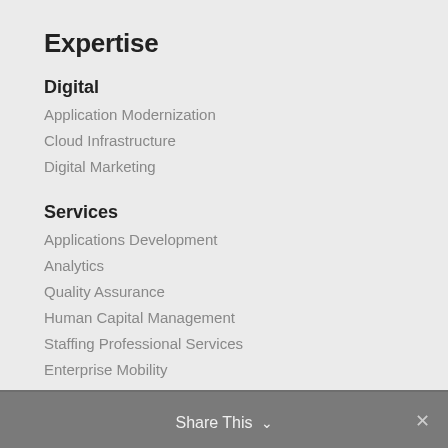Expertise
Digital
Application Modernization
Cloud Infrastructure
Digital Marketing
Services
Applications Development
Analytics
Quality Assurance
Human Capital Management
Staffing Professional Services
Enterprise Mobility
Application Security
Productivity Tools
Share This ∨  ✕